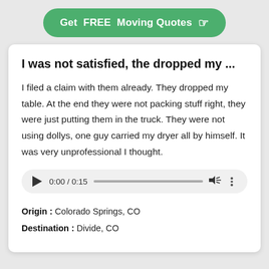[Figure (other): Green pill-shaped call-to-action button reading 'Get FREE Moving Quotes' with a pointing hand icon]
I was not satisfied, the dropped my ...
I filed a claim with them already. They dropped my table. At the end they were not packing stuff right, they were just putting them in the truck. They were not using dollys, one guy carried my dryer all by himself. It was very unprofessional I thought.
[Figure (other): Audio player widget showing 0:00 / 0:15 with play button, progress bar, volume icon, and more options icon]
Origin: Colorado Springs, CO
Destination: Divide, CO